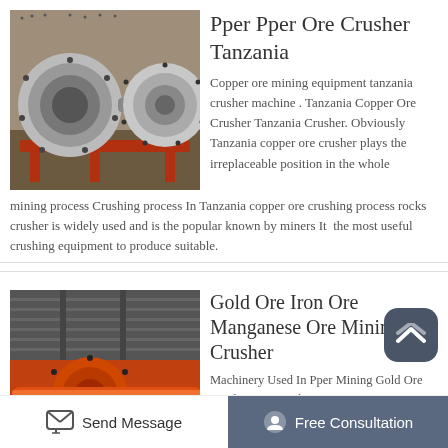[Figure (photo): Industrial ball mill machine, large cylindrical drums on red metal frame, industrial mining equipment]
Pper Pper Ore Crusher Tanzania
Copper ore mining equipment tanzania crusher machine . Tanzania Copper Ore Crusher Tanzania Crusher. Obviously Tanzania copper ore crusher plays the irreplaceable position in the whole mining process Crushing process In Tanzania copper ore crushing process rocks crusher is widely used and is the popular known by miners It the most useful crushing equipment to produce suitable.
[Figure (photo): Orange industrial ball mill grinding machine, mining equipment, cylindrical drum with bolts]
Gold Ore Iron Ore Manganese Ore Mining Crusher
Machinery Used In Pper Mining Gold Ore Crusher Ore Crusher Mini...
Send Message   Free Consultation